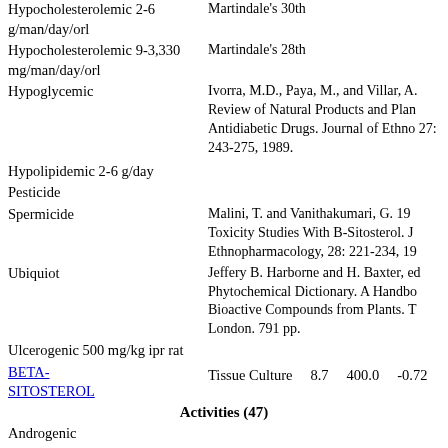Hypocholesterolemic 2-6 g/man/day/orl
Martindale's 30th
Hypocholesterolemic 9-3,330 mg/man/day/orl
Martindale's 28th
Hypoglycemic
Ivorra, M.D., Paya, M., and Villar, A. Review of Natural Products and Plants as Antidiabetic Drugs. Journal of Ethnopharmacology, 27: 243-275, 1989.
Hypolipidemic 2-6 g/day
Pesticide
Spermicide
Malini, T. and Vanithakumari, G. 19... Toxicity Studies With B-Sitosterol. Journal of Ethnopharmacology, 28: 221-234, 19...
Ubiquiot
Jeffery B. Harborne and H. Baxter, eds. Phytochemical Dictionary. A Handbook of Bioactive Compounds from Plants. Taylor & Frost, London. 791 pp.
Ulcerogenic 500 mg/kg ipr rat
BETA-SITOSTEROL  Tissue Culture  8.7  400.0  -0.72
Activities (47)
Androgenic